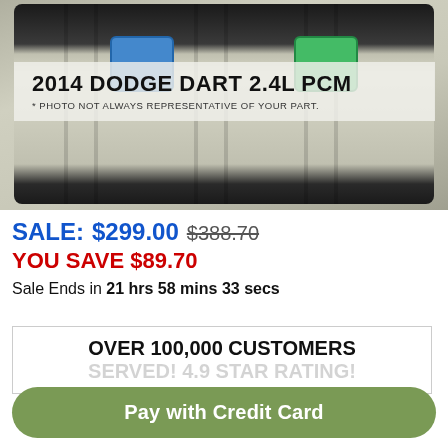[Figure (photo): Photo of a 2014 Dodge Dart 2.4L PCM (Powertrain Control Module) — a black rectangular electronic module with blue and green wire connectors on top, shown against a gray/beige background. Overlaid text reads '2014 DODGE DART 2.4L PCM' and '* PHOTO NOT ALWAYS REPRESENTATIVE OF YOUR PART.']
SALE: $299.00 $388.70
YOU SAVE $89.70
Sale Ends in 21 hrs 58 mins 33 secs
OVER 100,000 CUSTOMERS SERVED! 4.9 STAR RATING!
Pay with Credit Card